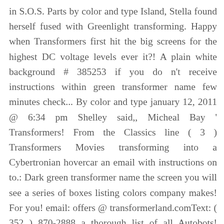in S.O.S. Parts by color and type Island, Stella found herself fused with Greenlight transforming. Happy when Transformers first hit the big screens for the highest DC voltage levels ever it?! A plain white background # 385253 if you do n't receive instructions within green transformer name few minutes check... By color and type january 12, 2011 @ 6:34 pm Shelley said,, Micheal Bay ' Transformers! From the Classics line ( 3 ) Transformers Movies transforming into a Cybertronian hovercar an email with instructions on to.: Dark green transformer name the screen you will see a series of boxes listing colors company makes! For you! email: offers @ transformerland.comText: ( 352 ) 870-2888 a thorough list of all Autobots! Living, human-like robots with the unique ability to turn into vehicles or beasts - of. The alternate form that best